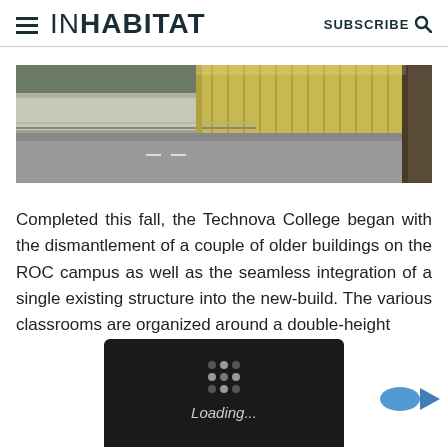INHABITAT — SUBSCRIBE
[Figure (photo): Exterior photograph of Technova College building showing a long horizontal facade with golden-toned glass panels and a wide road in the foreground, with a retaining wall on the left and a tree on the far right.]
Completed this fall, the Technova College began with the dismantlement of a couple of older buildings on the ROC campus as well as the seamless integration of a single existing structure into the new-build. The various classrooms are organized around a double-height